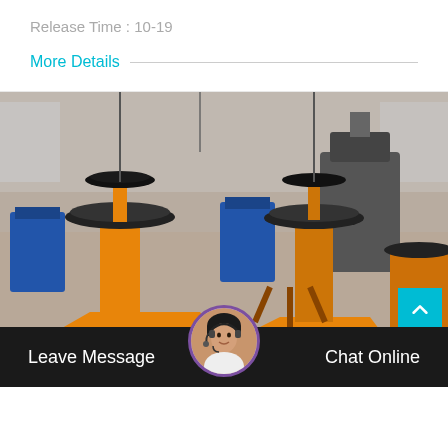Release Time : 10-19
More Details
[Figure (photo): Industrial mining/flotation machinery in a factory setting — large orange and black flotation cell machines with spinning impellers, blue motors, set in a warehouse with natural light from windows.]
Leave Message
Chat Online